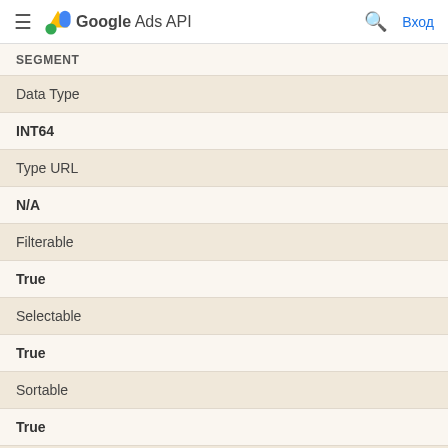Google Ads API  Вход
SEGMENT
| Data Type |  |
| INT64 |  |
| Type URL |  |
| N/A |  |
| Filterable |  |
| True |  |
| Selectable |  |
| True |  |
| Sortable |  |
| True |  |
| Repeated |  |